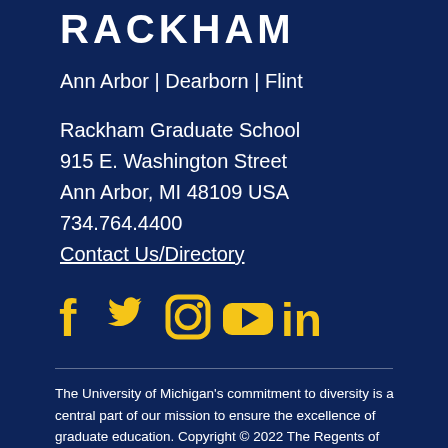RACKHAM
Ann Arbor | Dearborn | Flint
Rackham Graduate School
915 E. Washington Street
Ann Arbor, MI 48109 USA
734.764.4400
Contact Us/Directory
[Figure (illustration): Social media icons in gold: Facebook, Twitter, Instagram, YouTube, LinkedIn]
The University of Michigan's commitment to diversity is a central part of our mission to ensure the excellence of graduate education. Copyright © 2022 The Regents of the